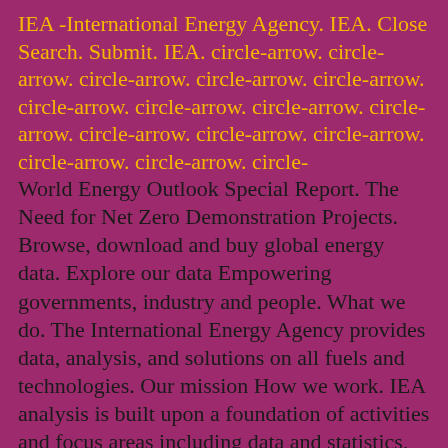IEA -International Energy Agency. IEA. Close Search. Submit. IEA. circle-arrow. circle-arrow. circle-arrow. circle-arrow. circle-arrow. circle-arrow. circle-arrow. circle-arrow. circle-arrow. circle-arrow. circle-arrow. circle-arrow. circle-arrow. circle-arrow. circle-
World Energy Outlook Special Report. The Need for Net Zero Demonstration Projects. Browse, download and buy global energy data. Explore our data Empowering governments, industry and people. What we do. The International Energy Agency provides data, analysis, and solutions on all fuels and technologies. Our mission How we work. IEA analysis is built upon a foundation of activities and focus areas including data and statistics, training, innovation and international cooperation.